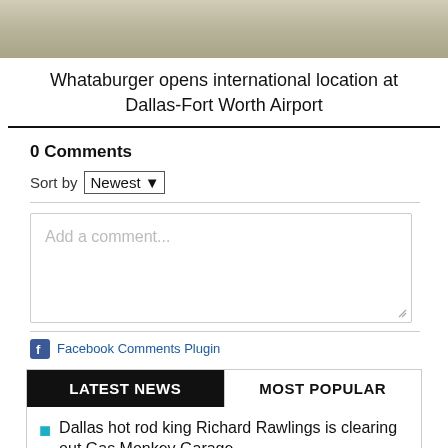[Figure (photo): Top portion of a webpage showing a background image (sky/horizon, muted beige-gray tones)]
Whataburger opens international location at Dallas-Fort Worth Airport
0 Comments
Sort by Newest
Add a comment...
Facebook Comments Plugin
LATEST NEWS
MOST POPULAR
Dallas hot rod king Richard Rawlings is clearing out Gas Monkey Garage
New cat cafe will prowl into East Dallas